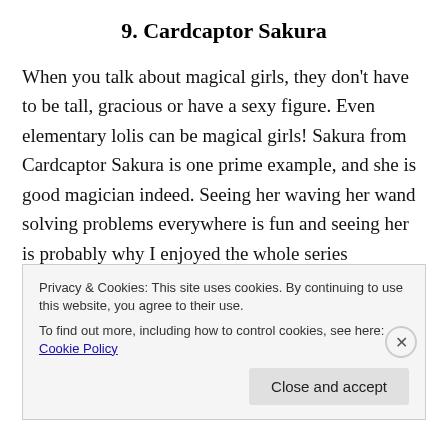9. Cardcaptor Sakura
When you talk about magical girls, they don't have to be tall, gracious or have a sexy figure. Even elementary lolis can be magical girls! Sakura from Cardcaptor Sakura is one prime example, and she is good magician indeed. Seeing her waving her wand solving problems everywhere is fun and seeing her is probably why I enjoyed the whole series thoroughly. Sakura and Syaoran's interaction is cute too, and some of the mystery behind some of the other characters add even more impact to the overall viewing
Privacy & Cookies: This site uses cookies. By continuing to use this website, you agree to their use.
To find out more, including how to control cookies, see here: Cookie Policy